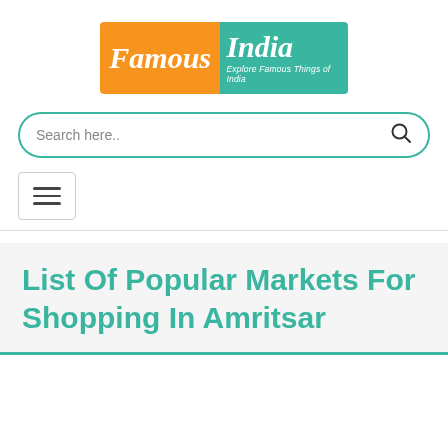[Figure (logo): Famous India logo with orange left half showing 'Famous' in italic white serif font, and teal/green right half showing 'India' in italic white serif font and tagline 'Explore Famous Things of India' in white italic text below]
Search here..
[Figure (other): Hamburger menu toggle button with three horizontal lines inside a rounded rectangle border]
List Of Popular Markets For Shopping In Amritsar